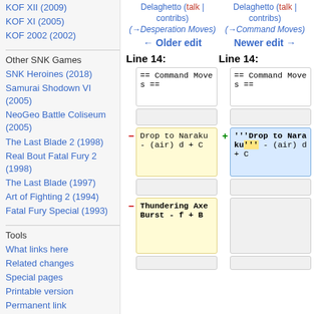KOF XII (2009)
KOF XI (2005)
KOF 2002 (2002)
Other SNK Games
SNK Heroines (2018)
Samurai Shodown VI (2005)
NeoGeo Battle Coliseum (2005)
The Last Blade 2 (1998)
Real Bout Fatal Fury 2 (1998)
The Last Blade (1997)
Art of Fighting 2 (1994)
Fatal Fury Special (1993)
Tools
What links here
Related changes
Special pages
Printable version
Permanent link
Page information
Delaghetto (talk | contribs) (→Desperation Moves)
Delaghetto (talk | contribs) (→Command Moves)
← Older edit
Newer edit →
Line 14:
Line 14:
== Command Moves ==
== Command Moves ==
Drop to Naraku - (air) d + C
'''Drop to Naraku''' - (air) d + C
Thundering Axe Burst - f + B